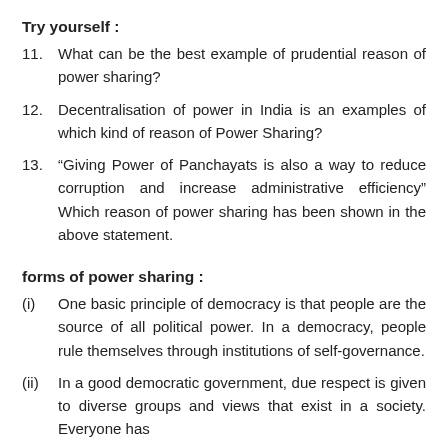Try yourself :
11.    What can be the best example of prudential reason of power sharing?
12.    Decentralisation of power in India is an examples of which kind of reason of Power Sharing?
13.    “Giving Power of Panchayats is also a way to reduce corruption and increase administrative efficiency”  Which reason of power sharing has been shown in the above statement.
forms of power sharing :
(i)    One basic principle of democracy is that people are the source of all political power. In a democracy, people rule themselves through institutions of self-governance.
(ii)   In a good democratic government, due respect is given to diverse groups and views that exist in a society. Everyone has